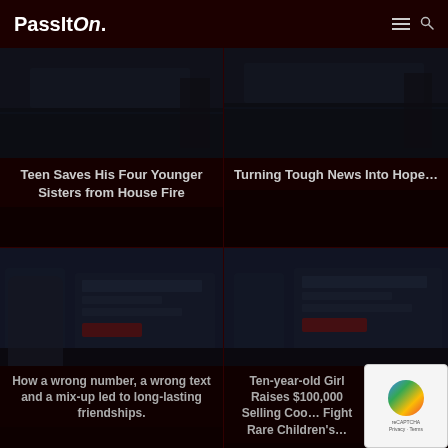PassItOn.
[Figure (screenshot): Article thumbnail image: Teen saves his four younger sisters from house fire]
Teen Saves His Four Younger Sisters from House Fire
[Figure (screenshot): Article thumbnail image: Turning tough news into hope]
Turning Tough News Into Hope…
[Figure (screenshot): Article thumbnail image: How a wrong number, a wrong text and a mix-up led to long-lasting friendships]
How a wrong number, a wrong text and a mix-up led to long-lasting friendships.
[Figure (screenshot): Article thumbnail image: Ten-year-old Girl Raises $100,000 Selling Cookies to Fight Rare Children's [disease]]
Ten-year-old Girl Raises $100,000 Selling Coo… Fight Rare Children's…